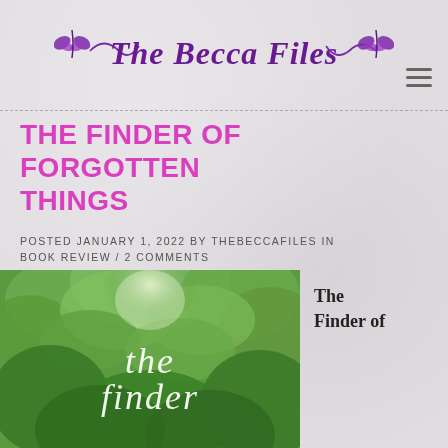The Becca Files
THE FINDER OF FORGOTTEN THINGS
POSTED JANUARY 1, 2022 BY THEBECCAFILES IN BOOK REVIEW / 2 COMMENTS
[Figure (photo): Book cover of 'The Finder of' showing lush green forest canopy with sunlight filtering through, with italic white text reading 'the finder' overlaid]
The Finder of